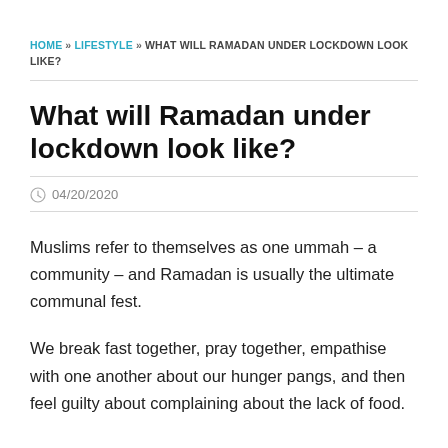HOME » LIFESTYLE » WHAT WILL RAMADAN UNDER LOCKDOWN LOOK LIKE?
What will Ramadan under lockdown look like?
04/20/2020
Muslims refer to themselves as one ummah – a community – and Ramadan is usually the ultimate communal fest.
We break fast together, pray together, empathise with one another about our hunger pangs, and then feel guilty about complaining about the lack of food.